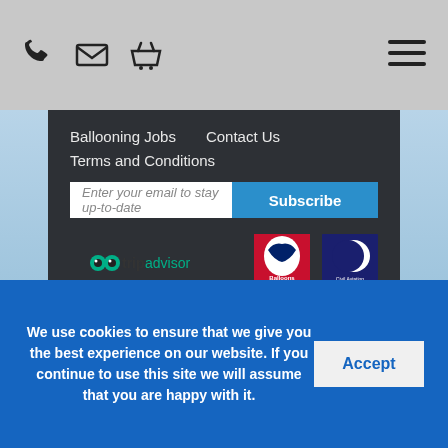Navigation bar with phone, email, basket icons and hamburger menu
Ballooning Jobs
Contact Us
Terms and Conditions
Enter your email to stay up-to-date
Subscribe
[Figure (logo): TripAdvisor logo with owl icon]
[Figure (logo): Balloons Over Britain logo - red background with UK map silhouette]
[Figure (logo): Civil Aviation Authority logo - dark blue with crescent moon]
[Figure (logo): Mastercard logo - red and orange overlapping circles]
[Figure (logo): VISA logo - blue text on white]
[Figure (logo): Stripe logo - blue text]
[Figure (logo): PayPal logo - blue P icon]
[Figure (logo): Worldpay logo with globe icon]
We use cookies to ensure that we give you the best experience on our website. If you continue to use this site we will assume that you are happy with it.
Accept